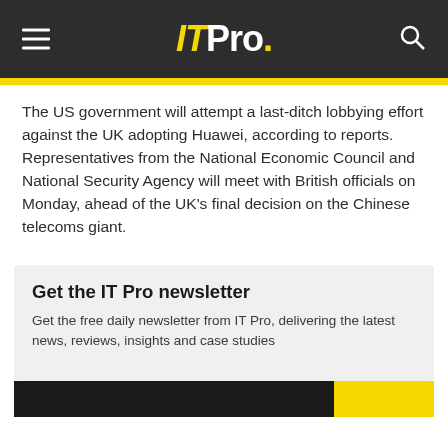IT Pro.
The US government will attempt a last-ditch lobbying effort against the UK adopting Huawei, according to reports.
Representatives from the National Economic Council and National Security Agency will meet with British officials on Monday, ahead of the UK's final decision on the Chinese telecoms giant.
Get the IT Pro newsletter
Get the free daily newsletter from IT Pro, delivering the latest news, reviews, insights and case studies